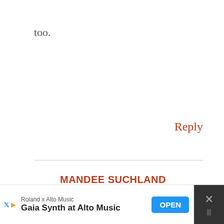too.
Reply
MANDEE SUCHLAND
NOVEMBER 10, 2016 AT 6:18 PM
I have never used FInlandia before, but wow this so good! I
[Figure (screenshot): Advertisement banner: Roland x Alto Music - Gaia Synth at Alto Music, with OPEN button and close button]
[Figure (other): Share button icon (circular white button with share/network icon)]